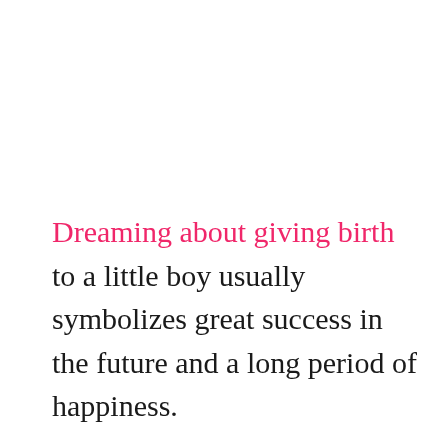Dreaming about giving birth to a little boy usually symbolizes great success in the future and a long period of happiness.
A baby boy is considered to be a sign of spiritual growth and success in every field of life, including career, love, and family.